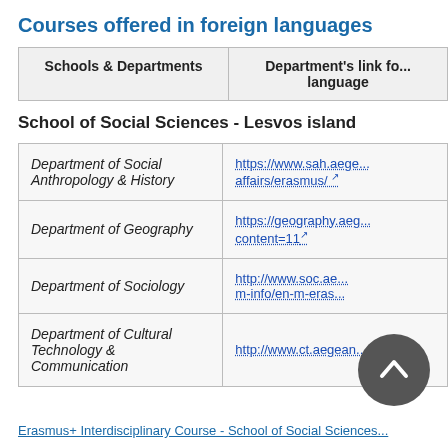Courses offered in foreign languages
| Schools & Departments | Department's link fo... language |
| --- | --- |
School of Social Sciences - Lesvos island
| Department of Social Anthropology & History | https://www.sah.aege... affairs/erasmus/ |
| Department of Geography | https://geography.aeg... content=11 |
| Department of Sociology | http://www.soc.ae... m-info/en-m-eras... |
| Department of Cultural Technology & Communication | http://www.ct.aegean.... |
Erasmus+ Interdisciplinary Course - School of Social Sciences...